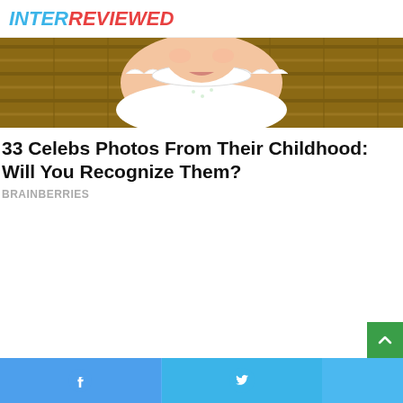INTERREVIEWED
[Figure (photo): Close-up photo of a baby/young child wearing a white frilly dress, appearing to be sitting in a wicker basket or chair. Only the upper body and face are visible, cropped at the chin/mouth area.]
33 Celebs Photos From Their Childhood: Will You Recognize Them?
BRAINBERRIES
[Figure (other): Empty white content/advertisement area]
Facebook share | Twitter share